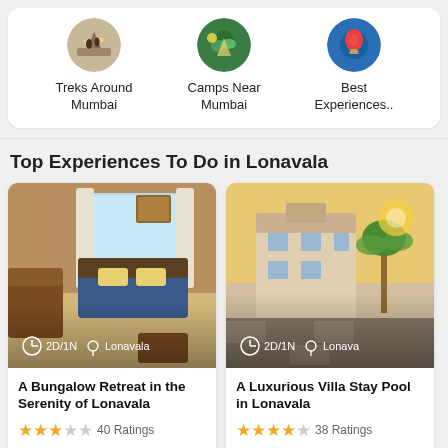[Figure (other): Category icons row: Treks Around Mumbai, Camps Near Mumbai, Best Experiences]
Top Experiences To Do in Lonavala
[Figure (photo): Bungalow room interior with wooden furniture, blue bed, curtains]
A Bungalow Retreat in the Serenity of Lonavala
40 Ratings, 3/5 stars, $ 192 original price, $ 154 current price
[Figure (photo): Luxurious villa exterior with palm trees at sunset]
A Luxurious Villa Stay Pool in Lonavala
38 Ratings, 4/5 stars, $ 166 original price, $ 123 current price